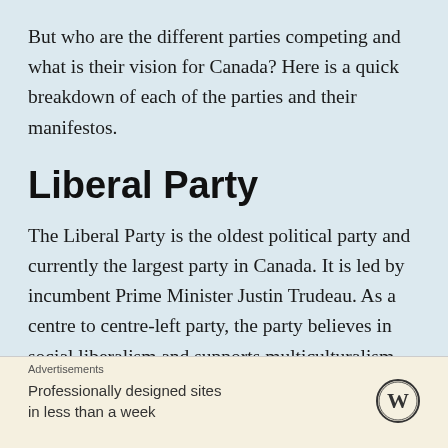But who are the different parties competing and what is their vision for Canada? Here is a quick breakdown of each of the parties and their manifestos.
Liberal Party
The Liberal Party is the oldest political party and currently the largest party in Canada. It is led by incumbent Prime Minister Justin Trudeau. As a centre to centre-left party, the party believes in social liberalism and supports multiculturalism, euthanasia, universal healthcare and reproductive
Advertisements
Professionally designed sites in less than a week